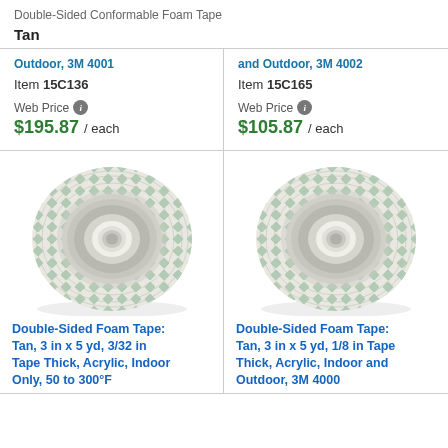Double-Sided Conformable Foam Tape
Tan
Outdoor, 3M 4001 — Item 15C136 — Web Price $195.87 / each
and Outdoor, 3M 4002 — Item 15C165 — Web Price $105.87 / each
[Figure (photo): Roll of double-sided foam tape with green diamond pattern, tan colored, 3M brand]
Double-Sided Foam Tape: Tan, 3 in x 5 yd, 3/32 in Tape Thick, Acrylic, Indoor Only, 50 to 300°F
[Figure (photo): Roll of double-sided foam tape with green diamond pattern, tan colored, 3M brand]
Double-Sided Foam Tape: Tan, 3 in x 5 yd, 1/8 in Tape Thick, Acrylic, Indoor and Outdoor, 3M 4000